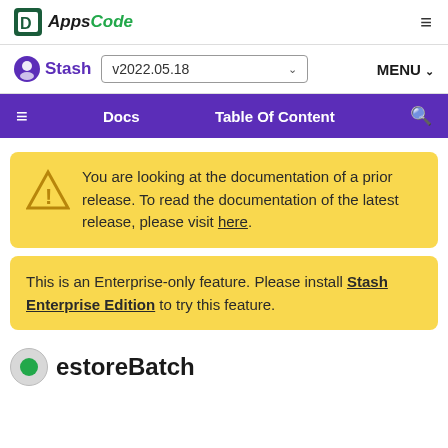AppsCode  ≡
Stash  v2022.05.18  MENU
≡  Docs  Table Of Content  🔍
You are looking at the documentation of a prior release. To read the documentation of the latest release, please visit here.
This is an Enterprise-only feature. Please install Stash Enterprise Edition to try this feature.
estoreBatch